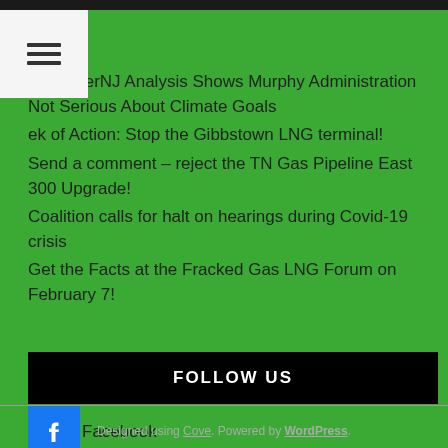EmpowerNJ Analysis Shows Murphy Administration Not Serious About Climate Goals
Week of Action: Stop the Gibbstown LNG terminal!
Send a comment – reject the TN Gas Pipeline East 300 Upgrade!
Coalition calls for halt on hearings during Covid-19 crisis
Get the Facts at the Fracked Gas LNG Forum on February 7!
FOLLOW US
[Figure (logo): Facebook logo icon with Facebook text]
Designed using Cove. Powered by WordPress.